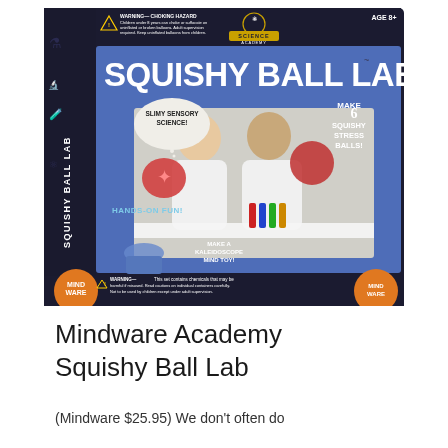[Figure (photo): Product box for Mindware Science Academy Squishy Ball Lab. Dark navy background with chalk-style science doodles. Features 'SQUISHY BALL LAB' in large white letters on a blue panel. Two children in lab coats shown making squishy stress balls. Text on box includes 'SLIMY SENSORY SCIENCE!', 'MAKE 6 SQUISHY STRESS BALLS!', 'HANDS-ON FUN!', 'MAKE A KALEIDOSCOPE MIND TOY!', warning labels, Science Academy logo, Ages 8+, and MindWare branding with orange circles.]
Mindware Academy Squishy Ball Lab
(Mindware $25.95) We don't often do